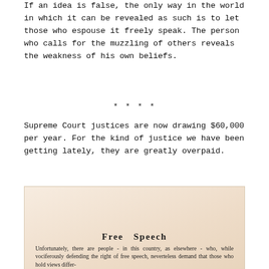If an idea is false, the only way in the world in which it can be revealed as such is to let those who espouse it freely speak. The person who calls for the muzzling of others reveals the weakness of his own beliefs.
* * * *
Supreme Court justices are now drawing $60,000 per year. For the kind of justice we have been getting lately, they are greatly overpaid.
[Figure (photo): Photograph or scan of a printed document titled 'Free Speech' with text beginning 'Unfortunately, there are people - in this country, as elsewhere - who, while vociferously defending the right of free speech, nevertheless demand that those who hold views differ-']